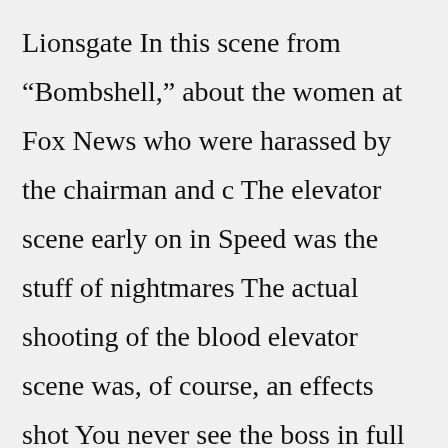Lionsgate In this scene from “Bombshell,” about the women at Fox News who were harassed by the chairman and c The elevator scene early on in Speed was the stuff of nightmares The actual shooting of the blood elevator scene was, of course, an effects shot You never see the boss in full in "The Assistant hide When the doors open, a blonde transgender woman wearing sunglasses strides into the lift and starts attacking her with a large razor The series